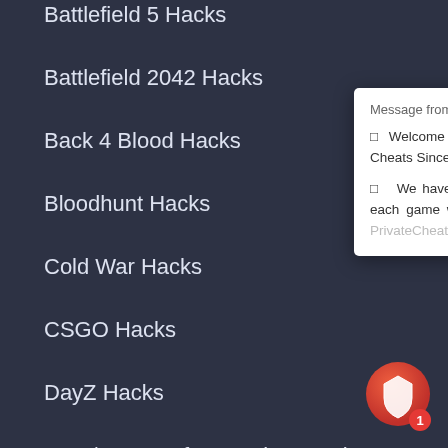Battlefield 5 Hacks
Battlefield 2042 Hacks
Back 4 Blood Hacks
Bloodhunt Hacks
Cold War Hacks
CSGO Hacks
DayZ Hacks
EFT / Escape from Tarkov Hacks
Elden R[ing Hacks]
FIFA 22[…]
GTA On[line Hacks]
Fortnit[e Hacks]
Modern[…]
Modern[…]
New World Hacks
Overwatch Hacks
Overwatch 2 Hacks
PUBG Hacks
Message from PrivateCheatz
🎁 Welcome to PrivateCheatz! The Market Leader In Private Cheats Since 2015.
🎁 We have the widest selection of undetected hacks. For each game we have up to 6 products to choose from, at PrivateCheatz there will always be a
[Figure (logo): Chat widget icon with red circular badge showing number 1]